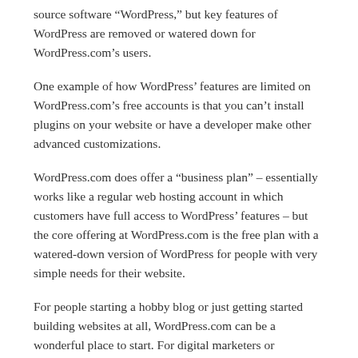source software “WordPress,” but key features of WordPress are removed or watered down for WordPress.com’s users.
One example of how WordPress’ features are limited on WordPress.com’s free accounts is that you can’t install plugins on your website or have a developer make other advanced customizations.
WordPress.com does offer a “business plan” – essentially works like a regular web hosting account in which customers have full access to WordPress’ features – but the core offering at WordPress.com is the free plan with a watered-down version of WordPress for people with very simple needs for their website.
For people starting a hobby blog or just getting started building websites at all, WordPress.com can be a wonderful place to start. For digital marketers or businesses looking to stand out and take advantage of advanced digital strategies, the open-source software version of WordPress (available on WordPress.org) is far and away the best choice.